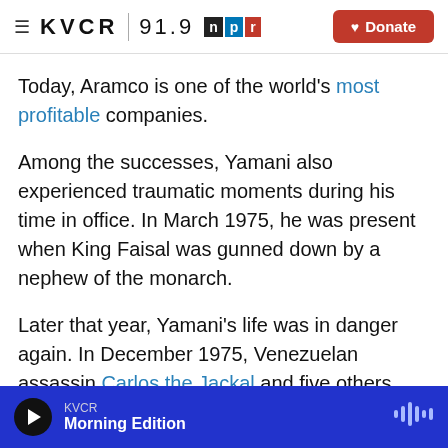≡ KVCR | 91.9 npr Donate
Today, Aramco is one of the world's most profitable companies.
Among the successes, Yamani also experienced traumatic moments during his time in office. In March 1975, he was present when King Faisal was gunned down by a nephew of the monarch.
Later that year, Yamani's life was in danger again. In December 1975, Venezuelan assassin Carlos the Jackal and five others stormed an OPEC meeting in Vienna, killing three people and taking Yamani and
KVCR · Morning Edition